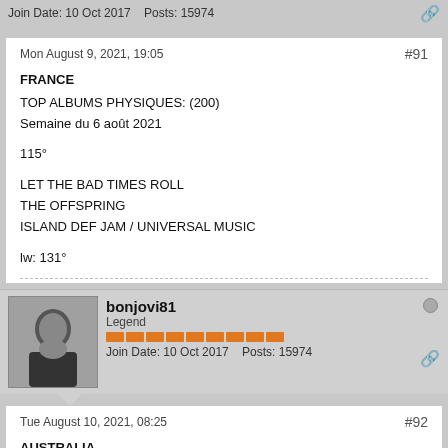Join Date: 10 Oct 2017   Posts: 15974
Mon August 9, 2021, 19:05   #91
FRANCE
TOP ALBUMS PHYSIQUES: (200)
Semaine du 6 août 2021

115°

LET THE BAD TIMES ROLL
THE OFFSPRING
ISLAND DEF JAM / UNIVERSAL MUSIC

lw: 131°
bonjovi81
Legend
Join Date: 10 Oct 2017   Posts: 15974
Tue August 10, 2021, 08:25   #92
AUSTRALIA
ARIA Digital Albums